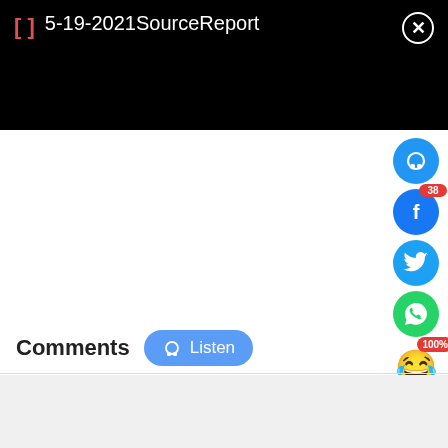[] 5-19-2021SourceReport
[Figure (screenshot): Social sharing sidebar with audio (headphones), Facebook (38 shares), Twitter, WhatsApp, emoji reaction (100%), and comment/share buttons in circular icons on the right side of the page]
Comments
Listen
[Figure (screenshot): Comment input text area (light gray background)]